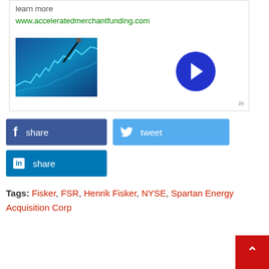learn more
www.acceleratedmerchantfunding.com
[Figure (screenshot): Stock chart image with a pen/stylus pointing at it, with a blue arrow button to the right. LinkedIn 'in' badge at bottom right of ad box.]
share
tweet
share
Tags: Fisker, FSR, Henrik Fisker, NYSE, Spartan Energy Acquisition Corp